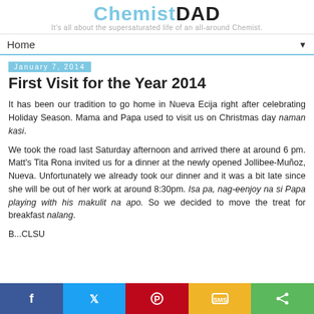ChemistDAD — It's all about the supersaturated life of an all-around Chemist.
Home
January 7, 2014
First Visit for the Year 2014
It has been our tradition to go home in Nueva Ecija right after celebrating Holiday Season. Mama and Papa used to visit us on Christmas day naman kasi.
We took the road last Saturday afternoon and arrived there at around 6 pm. Matt's Tita Rona invited us for a dinner at the newly opened Jollibee-Muñoz, Nueva. Unfortunately we already took our dinner and it was a bit late since she will be out of her work at around 8:30pm. Isa pa, nag-eenjoy na si Papa playing with his makulit na apo. So we decided to move the treat for breakfast nalang.
B...CLSU